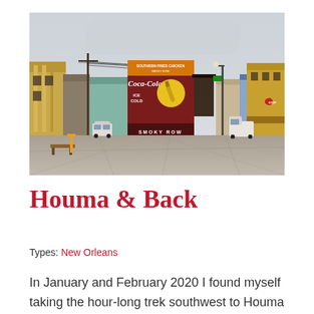[Figure (photo): Street scene in Houma, Louisiana. Wide empty parking lot or street in the foreground. In the center background is a large building with a vintage Coca-Cola mural reading 'Southern Fried Chicken', 'Coca-Cola ICE COLD', and 'SMOKY ROW'. Buildings line both sides of the street, including yellow structures on the left and right. A grey overcast sky fills the top portion. Utility poles with wires visible on the left side.]
Houma & Back
Types: New Orleans
In January and February 2020 I found myself taking the hour-long trek southwest to Houma